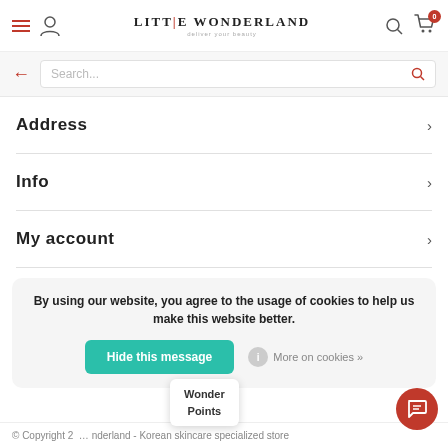Little Wonderland - Deliver your beauty
Search...
Address
Info
My account
By using our website, you agree to the usage of cookies to help us make this website better.
Hide this message
More on cookies »
© Copyright 2... nderland - Korean skincare specialized store
Wonder Points